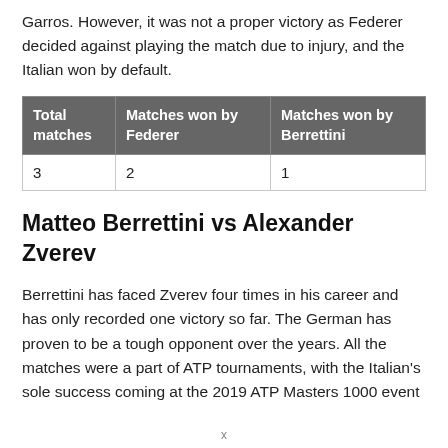Garros. However, it was not a proper victory as Federer decided against playing the match due to injury, and the Italian won by default.
| Total matches | Matches won by Federer | Matches won by Berrettini |
| --- | --- | --- |
| 3 | 2 | 1 |
Matteo Berrettini vs Alexander Zverev
Berrettini has faced Zverev four times in his career and has only recorded one victory so far. The German has proven to be a tough opponent over the years. All the matches were a part of ATP tournaments, with the Italian's sole success coming at the 2019 ATP Masters 1000 event
x